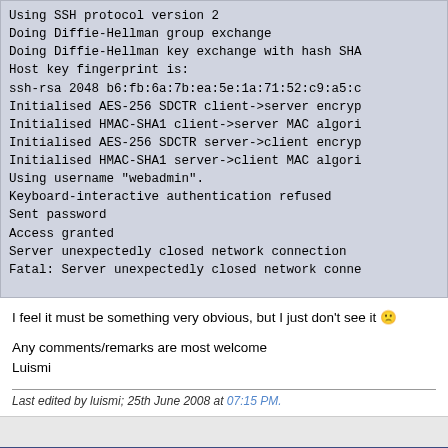[Figure (screenshot): SSH terminal output showing connection debug messages including protocol version, Diffie-Hellman exchange, key fingerprint, encryption initialization, authentication attempt, access granted, and fatal server connection close error.]
I feel it must be something very obvious, but I just don't see it :(
Any comments/remarks are most welcome
Luismi
Last edited by luismi; 25th June 2008 at 07:15 PM.
26th June 2008   #2  (View Single Post)